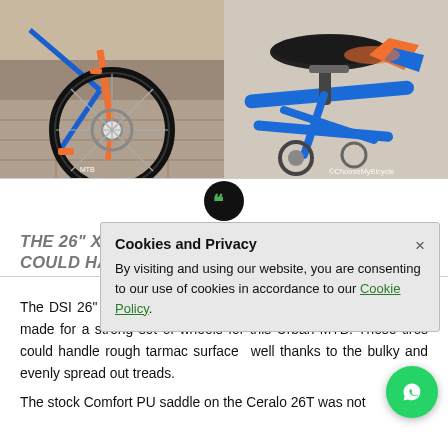[Figure (photo): Two side-by-side bicycle photos: left shows a front wheel of a blue/orange MTB bicycle on a tiled ground; right shows the black PU saddle and blue/orange frame of the same bicycle. Watermark: ©ChooseMyBicycle]
THE 26" X 2.1" D... COULD HAND...
Cookies and Privacy
By visiting and using our website, you are consenting to our use of cookies in accordance to our Cookie Policy.
The DSI 26" x 2.1" MTB tires along with double walled alloy rims made for a strong set of wheels for this Urban MTB. These tires could handle rough tarmac surfaces well thanks to the bulky and evenly spread out treads.
The stock Comfort PU saddle on the Ceralo 26T was not